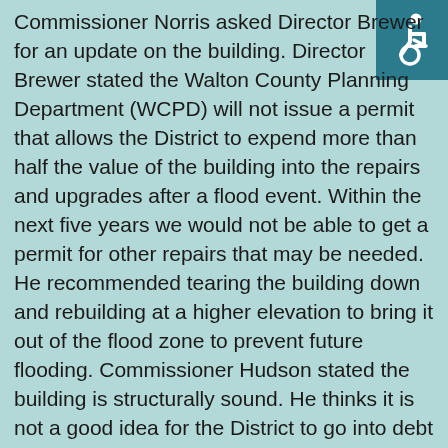[Figure (illustration): Accessibility icon (wheelchair symbol) in white on teal/dark cyan background, top-right corner]
Commissioner Norris asked Director Brewer for an update on the building. Director Brewer stated the Walton County Planning Department (WCPD) will not issue a permit that allows the District to expend more than half the value of the building into the repairs and upgrades after a flood event. Within the next five years we would not be able to get a permit for other repairs that may be needed. He recommended tearing the building down and rebuilding at a higher elevation to bring it out of the flood zone to prevent future flooding. Commissioner Hudson stated the building is structurally sound. He thinks it is not a good idea for the District to go into debt to build a new building. The District would have to go to the bank and borrow the money and incumber the citizens of this county. Commissioner Norris stated he was in